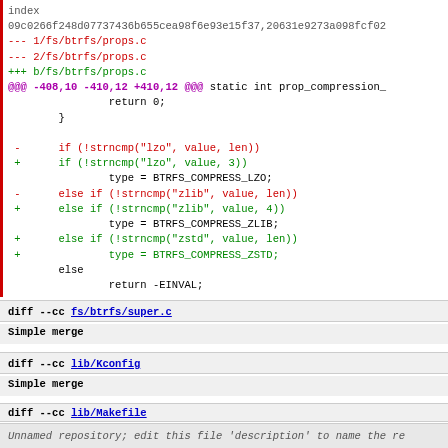index
09c0266f248d07737436b655cea98f6e93e15f37,20631e9273a098fcf02...
--- 1/fs/btrfs/props.c
--- 2/fs/btrfs/props.c
+++ b/fs/btrfs/props.c
@@@ -408,10 -410,12 +410,12 @@@ static int prop_compression_
                return 0;
        }

 -      if (!strncmp("lzo", value, len))
 +      if (!strncmp("lzo", value, 3))
                type = BTRFS_COMPRESS_LZO;
 -      else if (!strncmp("zlib", value, len))
 +      else if (!strncmp("zlib", value, 4))
                type = BTRFS_COMPRESS_ZLIB;
 +      else if (!strncmp("zstd", value, len))
 +              type = BTRFS_COMPRESS_ZSTD;
        else
                return -EINVAL;
diff --cc fs/btrfs/super.c
Simple merge
diff --cc lib/Kconfig
Simple merge
diff --cc lib/Makefile
Simple merge
Unnamed repository; edit this file 'description' to name the re